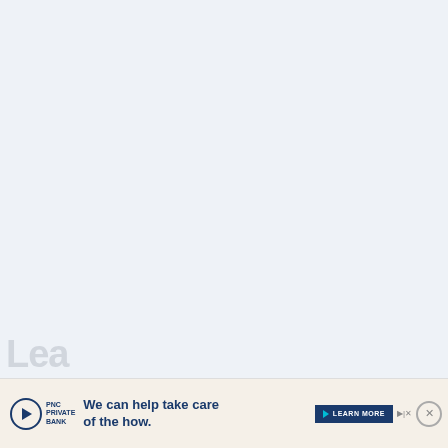[Figure (other): Large light blue-grey empty background area filling the upper three-quarters of the page]
Lea
[Figure (other): Advertisement banner for PNC Private Bank. Contains PNC Private Bank logo with circle and play-button icon, text 'We can help take care of the how.', a dark blue 'LEARN MORE' button with a cyan play icon and skip/close controls, and an X close button.]